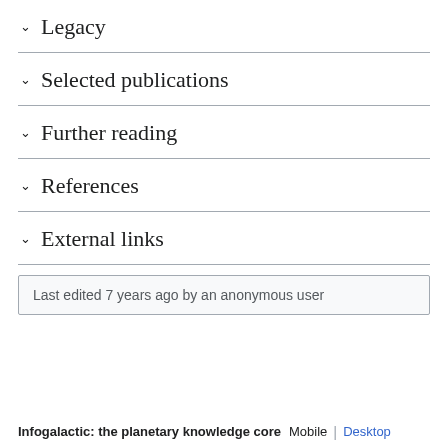Legacy
Selected publications
Further reading
References
External links
Last edited 7 years ago by an anonymous user
Infogalactic: the planetary knowledge core  Mobile | Desktop